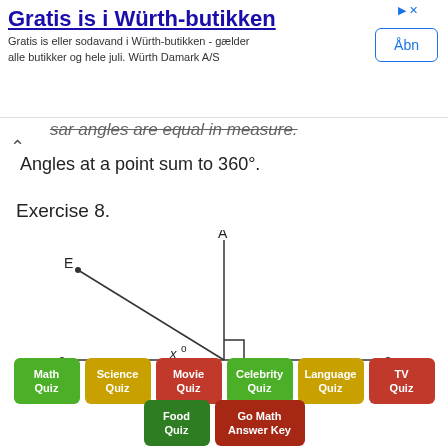[Figure (other): Advertisement banner: 'Gratis is i Würth-butikken' with 'Åbn' button]
sar angles are equal in measure.
Angles at a point sum to 360°.
Exercise 8.
[Figure (engineering-diagram): Geometry diagram showing two rays from a point O: vertical ray A going up, horizontal ray C-D going left-right, and ray E going upper-left. Angle x° is marked between ray OE and ray OC (left side), and a right angle square is shown between A and D.]
[Figure (other): Quiz buttons: Math Quiz (green), Science Quiz (olive/gold), Movie Quiz (red), Celebrity Quiz (green), Language Quiz (olive/gold), TV Quiz (red), Food Quiz (dark green), Go Math Answer Key (crimson)]